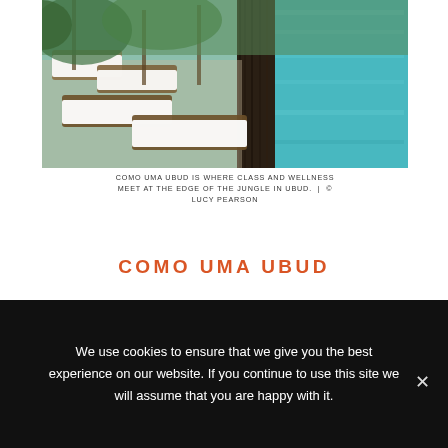[Figure (photo): Poolside lounge chairs with white cushions on wooden deck next to a turquoise pool, surrounded by tropical greenery]
COMO UMA UBUD IS WHERE CLASS AND WELLNESS MEET AT THE EDGE OF THE JUNGLE IN UBUD. | © LUCY PEARSON
COMO UMA UBUD
The name Como is one that exudes substance in the wellness travel world. A Como hotel is bound to offer a stay that is rich in thoughtful details, mindful moments and experiences. Our time at Como Uma Ubud was
We use cookies to ensure that we give you the best experience on our website. If you continue to use this site we will assume that you are happy with it.